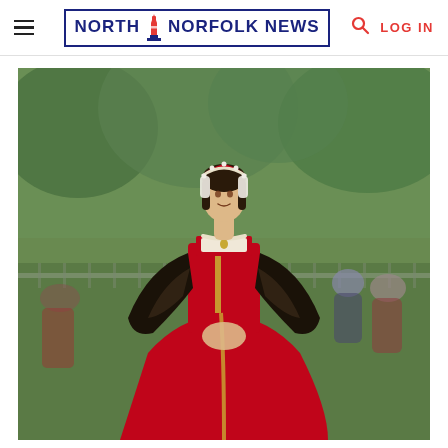North Norfolk News — LOG IN
[Figure (photo): A woman dressed in Tudor-era costume — a red velvet gown with dark oversized sleeves, pearl necklace, and an ornate red and pearl headdress — stands outdoors in front of a green park with a fence. There are blurred onlookers in the background. The image appears to be from a historical reenactment or film shoot.]